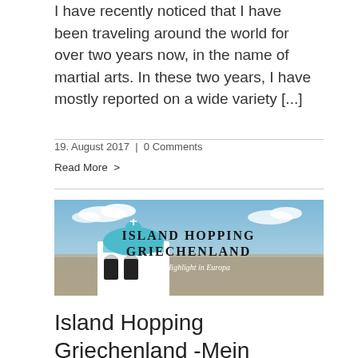I have recently noticed that I have been traveling around the world for over two years now, in the name of martial arts. In these two years, I have mostly reported on a wide variety [...]
19. August 2017 | 0 Comments
Read More >
[Figure (illustration): Blog post banner image for 'Island Hopping Griechenland - Mein Highlight in Europa'. Shows a white-domed Greek church building with a blue dome in the foreground, and a panoramic view of a Greek city/island in the background under a blue sky with clouds. Text overlay reads 'ISLAND HOPPING GRIECHENLAND' in a runic-style font and 'Mein Highlight in Europa' in a lighter script below.]
Island Hopping Griechenland -Mein